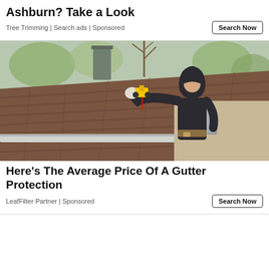Ashburn? Take a Look
Tree Trimming | Search ads | Sponsored
[Figure (photo): A worker in a black hoodie installing or working on a gutter system on a shingled roof, holding a yellow power tool, with trees and a house visible in the background.]
Here's The Average Price Of A Gutter Protection
LeafFilter Partner | Sponsored